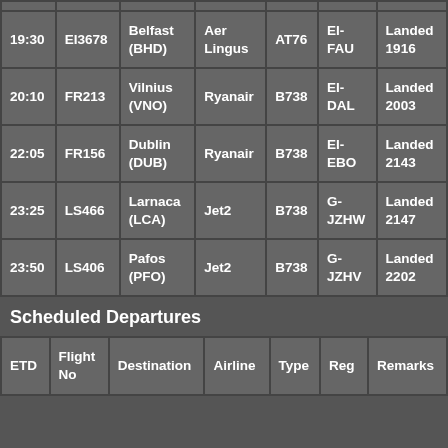| Time | Flight No | Origin | Airline | Type | Reg | Remarks |
| --- | --- | --- | --- | --- | --- | --- |
| 19:30 | EI3678 | Belfast (BHD) | Aer Lingus | AT76 | EI-FAU | Landed 1916 |
| 20:10 | FR213 | Vilnius (VNO) | Ryanair | B738 | EI-DAL | Landed 2003 |
| 22:05 | FR156 | Dublin (DUB) | Ryanair | B738 | EI-EBO | Landed 2143 |
| 23:25 | LS466 | Larnaca (LCA) | Jet2 | B738 | G-JZHW | Landed 2147 |
| 23:50 | LS406 | Pafos (PFO) | Jet2 | B738 | G-JZHV | Landed 2202 |
Scheduled Departures
| ETD | Flight No | Destination | Airline | Type | Reg | Remarks |
| --- | --- | --- | --- | --- | --- | --- |